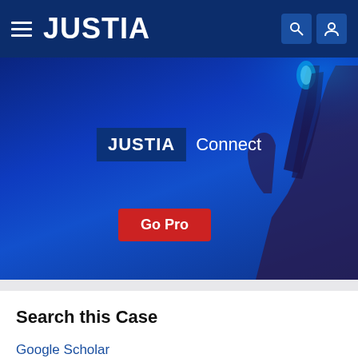JUSTIA
[Figure (screenshot): Justia Connect promotional banner with dark blue background, a hand reaching up, 'JUSTIA Connect' heading with dark navy box behind JUSTIA, and a red 'Go Pro' button.]
Search this Case
Google Scholar
Google Books
Legal Blogs